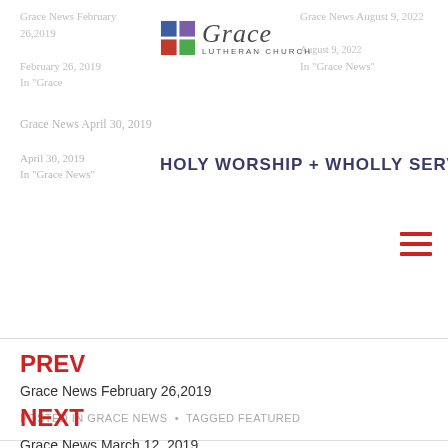[Figure (logo): Grace Lutheran Church logo with colored grid squares and italic 'Grace' script text with 'LUTHERAN CHURCH' subtitle]
HOLY WORSHIP + WHOLLY SERVING
Grace News February 26,2019
February 26, 2019
In "Grace News"
Grace News August 9, 2022
In "Grace News"
Grace News April 30, 2019
April 30, 2019
In "Grace News"
POSTED IN GRACE NEWS  •  TAGGED FEATURED
PREV
Grace News February 26,2019
NEXT
Grace News March 12, 2019